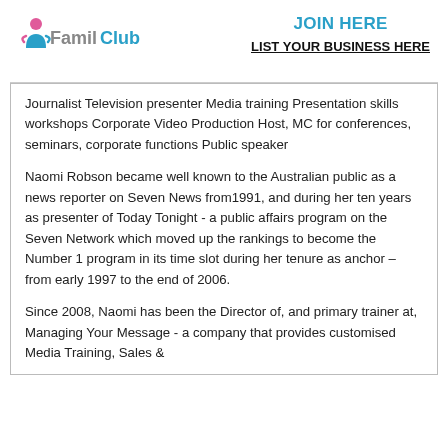[Figure (logo): FamilClub logo with person icon in pink/blue and text 'FamilClub' in grey and blue]
JOIN HERE
LIST YOUR BUSINESS HERE
Journalist Television presenter Media training Presentation skills workshops Corporate Video Production Host, MC for conferences, seminars, corporate functions Public speaker
Naomi Robson became well known to the Australian public as a news reporter on Seven News from1991, and during her ten years as presenter of Today Tonight - a public affairs program on the Seven Network which moved up the rankings to become the Number 1 program in its time slot during her tenure as anchor – from early 1997 to the end of 2006.
Since 2008, Naomi has been the Director of, and primary trainer at, Managing Your Message - a company that provides customised Media Training, Sales &